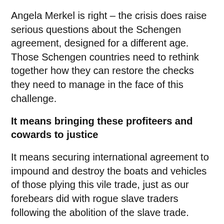Angela Merkel is right – the crisis does raise serious questions about the Schengen agreement, designed for a different age. Those Schengen countries need to rethink together how they can restore the checks they need to manage in the face of this challenge.
It means bringing these profiteers and cowards to justice
It means securing international agreement to impound and destroy the boats and vehicles of those plying this vile trade, just as our forebears did with rogue slave traders following the abolition of the slave trade.
And if needs be it means offering our courts and our jails to house those convicted.
And it means maintaining the vital search and rescue in the Mediterranean not downgrading it and leaving people to drown, as Europe shamefully tried to do earlier this